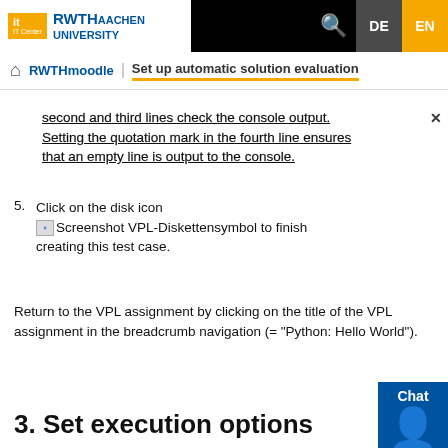RWTH Aachen University IT Center | RWTHmoodle | Set up automatic solution evaluation | DE | EN
second and third lines check the console output. Setting the quotation mark in the fourth line ensures that an empty line is output to the console.
5. Click on the disk icon [Screenshot VPL-Diskettensymbol] to finish creating this test case.
Return to the VPL assignment by clicking on the title of the VPL assignment in the breadcrumb navigation (= "Python: Hello World").
3. Set execution options